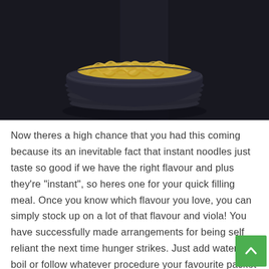[Figure (photo): A black bowl filled with instant noodles (ramen), photographed from above on a dark wooden surface. The bowl has ribbed sides and is stacked. The noodles are golden-yellow.]
Now theres a high chance that you had this coming because its an inevitable fact that instant noodles just taste so good if we have the right flavour and plus they’re “instant”, so heres one for your quick filling meal. Once you know which flavour you love, you can simply stock up on a lot of that flavour and viola! You have successfully made arrangements for being self reliant the next time hunger strikes. Just add water and boil or follow whatever procedure your favourite packet recommends buts